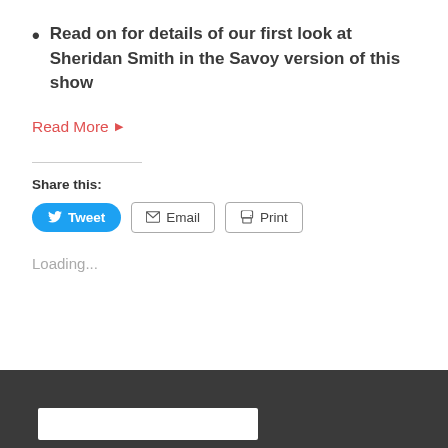Read on for details of our first look at Sheridan Smith in the Savoy version of this show
Read More ▶
Share this:
Loading...